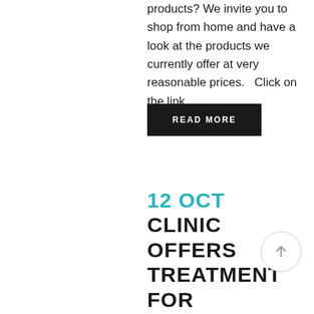products? We invite you to shop from home and have a look at the products we currently offer at very reasonable prices.   Click on the link...
READ MORE
12 OCT CLINIC OFFERS TREATMENT FOR CHILDREN DIAGNOSED WITH ADHD